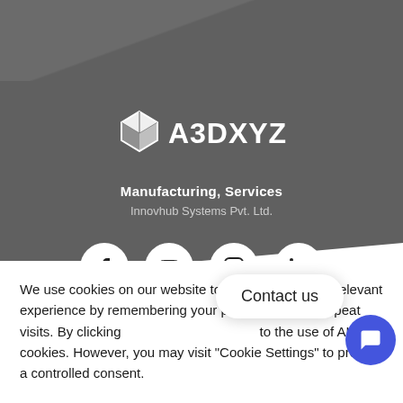[Figure (logo): A3DXYZ logo with geometric 3D box icon in white and the text A3DXYZ in white bold letters]
Manufacturing, Services
Innovhub Systems Pvt. Ltd.
[Figure (infographic): Four social media icons in white circles on grey background: Facebook, YouTube, Instagram, LinkedIn]
We use cookies on our website to give you the most relevant experience by remembering your preferences and repeat visits. By clicking "Accept", you consent to the use of ALL the cookies. However, you may visit "Cookie Settings" to provide a controlled consent.
[Figure (infographic): Contact us button overlay with chat bubble icon in blue circle]